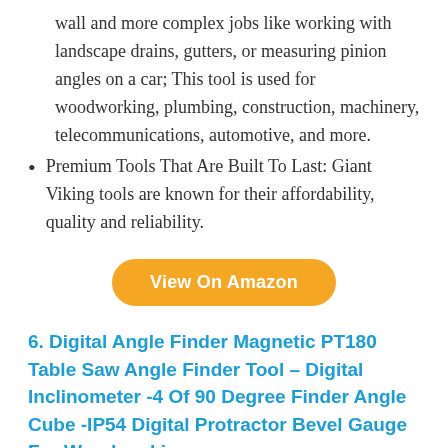wall and more complex jobs like working with landscape drains, gutters, or measuring pinion angles on a car; This tool is used for woodworking, plumbing, construction, machinery, telecommunications, automotive, and more.
Premium Tools That Are Built To Last: Giant Viking tools are known for their affordability, quality and reliability.
View On Amazon
6. Digital Angle Finder Magnetic PT180 Table Saw Angle Finder Tool – Digital Inclinometer -4 Of 90 Degree Finder Angle Cube -IP54 Digital Protractor Bevel Gauge For Woodworking